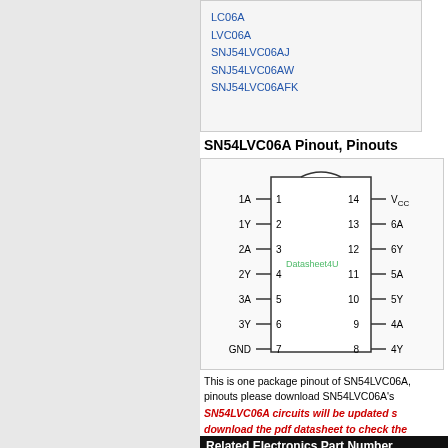LC06A
LVC06A
SNJ54LVC06AJ
SNJ54LVC06AW
SNJ54LVC06AFK
SN54LVC06A Pinout, Pinouts
[Figure (schematic): IC pinout diagram for SN54LVC06A showing 14-pin DIP package. Left pins 1-7: 1A, 1Y, 2A, 2Y, 3A, 3Y, GND. Right pins 14-8: VCC, 6A, 6Y, 5A, 5Y, 4A, 4Y. Watermark: Datasheet4U.com]
This is one package pinout of SN54LVC06A, pinouts please download SN54LVC06A's
SN54LVC06A circuits will be updated soon, download the pdf datasheet to check the
Related Electronics Part Number
SN54LVC06A HEX INV...